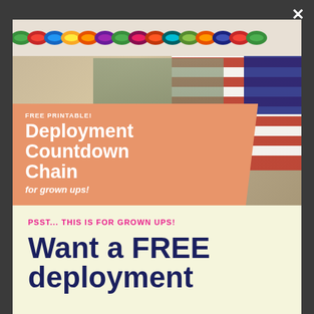[Figure (photo): Modal popup showing a deployment countdown chain free printable advertisement. Top image shows colorful paper chain links and a military figure holding hands with a civilian near an American flag. Orange banner overlay reads 'FREE PRINTABLE! Deployment Countdown Chain for grown ups!']
PSST... THIS IS FOR GROWN UPS!
Want a FREE deployment